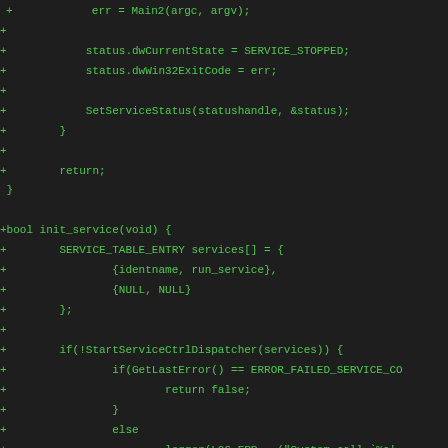[Figure (screenshot): Code diff/patch view showing C source code additions (lines prefixed with '+') in a dark terminal/IDE with green monospace text on dark background. Code includes service initialization logic with functions init_service, SetServiceStatus, StartServiceCtrlDispatcher, and related Windows service API calls.]